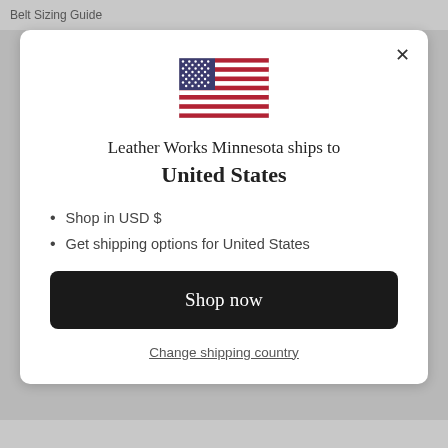Belt Sizing Guide
[Figure (illustration): US flag icon displayed in the center of the modal dialog]
Leather Works Minnesota ships to United States
Shop in USD $
Get shipping options for United States
Shop now
Change shipping country